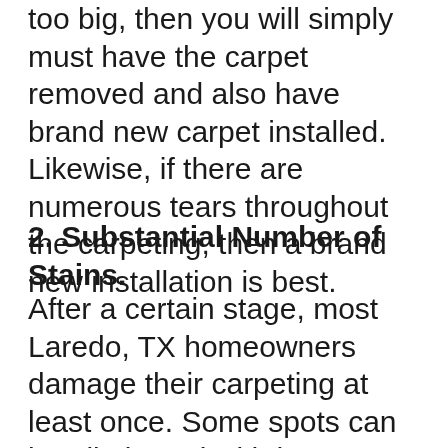too big, then you will simply must have the carpet removed and also have brand new carpet installed. Likewise, if there are numerous tears throughout the carpeting, then a brand new installation is best.
2. Substantial Number of Stains.
After a certain stage, most Laredo, TX homeowners damage their carpeting at least once. Some spots can be eliminated with home remedies or with assistance from a local carpet cleaner, however you will find those intense and difficult stains that just won't go away. As time...